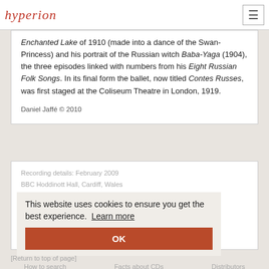hyperion
Enchanted Lake of 1910 (made into a dance of the Swan-Princess) and his portrait of the Russian witch Baba-Yaga (1904), the three episodes linked with numbers from his Eight Russian Folk Songs. In its final form the ballet, now titled Contes Russes, was first staged at the Coliseum Theatre in London, 1919.
Daniel Jaffé © 2010
Recording details: February 2009
BBC Hoddinott Hall, Cardiff, Wales
Engineered by Huw Thomas
Total duration: 58 minutes 15 seconds
This website uses cookies to ensure you get the best experience. Learn more
[Return to top of page]
How to search   Facts about CDs   Distributors